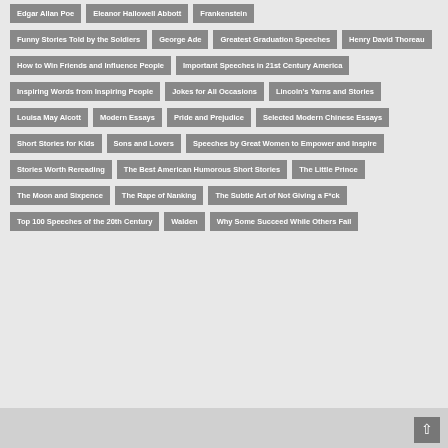Edgar Allan Poe
Eleanor Hallowell Abbott
Frankenstein
Funny Stories Told by the Soldiers
George Ade
Greatest Graduation Speeches
Henry David Thoreau
How to Win Friends and Influence People
Important Speeches in 21st Century America
Inspiring Words from Inspiring People
Jokes for All Occasions
Lincoln's Yarns and Stories
Louisa May Alcott
Modern Essays
Pride and Prejudice
Selected Modern Chinese Essays
Short Stories for Kids
Sons and Lovers
Speeches by Great Women to Empower and Inspire
Stories Worth Rereading
The Best American Humorous Short Stories
The Little Prince
The Moon and Sixpence
The Rape of Nanking
The Subtle Art of Not Giving a F*ck
Top 100 Speeches of the 20th Century
Walden
Why Some Succeed While Others Fail